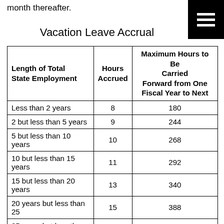month thereafter.
Vacation Leave Accrual
| Length of Total State Employment | Hours Accrued | Maximum Hours to Be Carried Forward from One Fiscal Year to Next |
| --- | --- | --- |
| Less than 2 years | 8 | 180 |
| 2 but less than 5 years | 9 | 244 |
| 5 but less than 10 years | 10 | 268 |
| 10 but less than 15 years | 11 | 292 |
| 15 but less than 20 years | 13 | 340 |
| 20 years but less than 25 | 15 | 388 |
| 25 years but less than 30 | 17 | 436 |